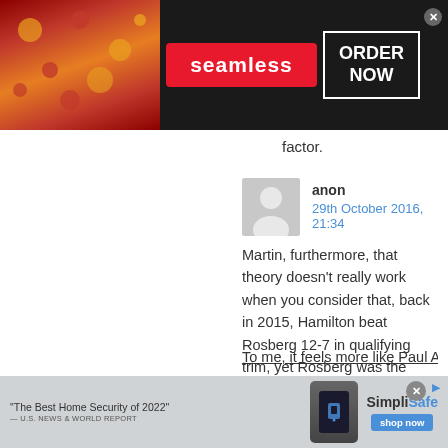[Figure (photo): Seamless food delivery advertisement banner with pizza image on the left, Seamless logo in the center on red background, and ORDER NOW button on the right, with dark background]
factor.
anon
29th October 2016, 21:34
Martin, furthermore, that theory doesn't really work when you consider that, back in 2015, Hamilton beat Rosberg 12-7 in qualifying trim, yet Rosberg was the driver that season who had more mechanical issues than Hamilton did.
To me, it feels more like Paul A made a
[Figure (photo): SimpliSafe home security advertisement banner with tagline 'The Best Home Security of 2022' from U.S. News & World Report, device image, SimpliSafe logo, and shop now button]